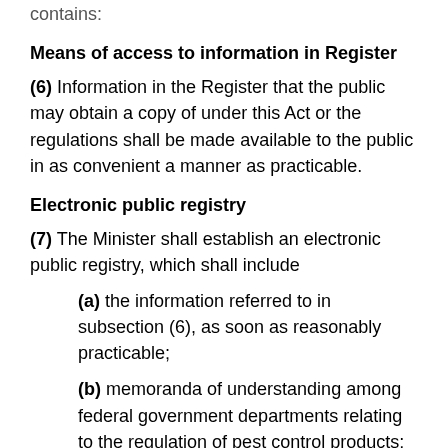contains:
Means of access to information in Register
(6) Information in the Register that the public may obtain a copy of under this Act or the regulations shall be made available to the public in as convenient a manner as practicable.
Electronic public registry
(7) The Minister shall establish an electronic public registry, which shall include
(a) the information referred to in subsection (6), as soon as reasonably practicable;
(b) memoranda of understanding among federal government departments relating to the regulation of pest control products;
(c) reports of international harmonization activities relating to the regulation of pest control products;